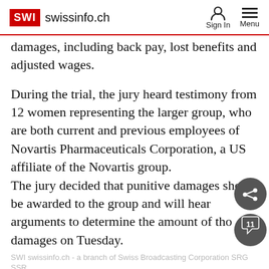SWI swissinfo.ch — Sign In — Menu
damages, including back pay, lost benefits and adjusted wages.
During the trial, the jury heard testimony from 12 women representing the larger group, who are both current and previous employees of Novartis Pharmaceuticals Corporation, a US affiliate of the Novartis group.
The jury decided that punitive damages should be awarded to the group and will hear arguments to determine the amount of those damages on Tuesday.
SWI swissinfo.ch - a branch of Swiss Broadcasting Corporation SRG SSR
In separate proceedings, each member of the class action will have the ability to bring forth